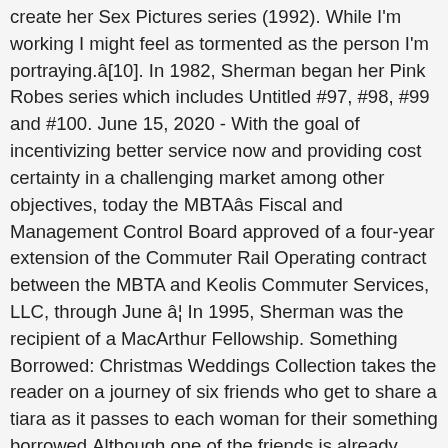create her Sex Pictures series (1992). While I'm working I might feel as tormented as the person I'm portraying.â[10]. In 1982, Sherman began her Pink Robes series which includes Untitled #97, #98, #99 and #100. June 15, 2020 - With the goal of incentivizing better service now and providing cost certainty in a challenging market among other objectives, today the MBTAâs Fiscal and Management Control Board approved of a four-year extension of the Commuter Rail Operating contract between the MBTA and Keolis Commuter Services, LLC, through June â¦ In 1995, Sherman was the recipient of a MacArthur Fellowship. Something Borrowed: Christmas Weddings Collection takes the reader on a journey of six friends who get to share a tiara as it passes to each woman for their something borrowed.Although one of the friends is already married, she still has scenes in â¦ [14] Along with artists like Laurie Simmons, Louise Lawler, and Barbara Kruger, Sherman is considered to be part of the Pictures Generation. [112] In 2011, a print of Untitled#96 fetched $3.89 million at Christie's, making it the most expensive photograph at that time. In 2015 she prophesied: 'I have a Trump card in my